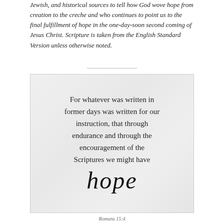Jewish, and historical sources to tell how God wove hope from creation to the creche and who continues to point us to the final fulfillment of hope in the one-day-soon second coming of Jesus Christ. Scripture is taken from the English Standard Version unless otherwise noted.
[Figure (other): A quote box with a marble/light gray texture background containing the Bible verse Romans 15:4 text: 'For whatever was written in former days was written for our instruction, that through endurance and through the encouragement of the Scriptures we might have hope' with the word 'hope' written in large cursive script.]
Romans 15:4